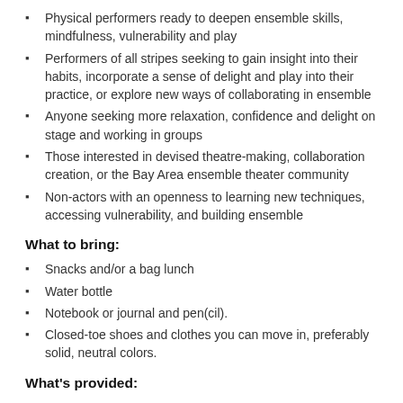Physical performers ready to deepen ensemble skills, mindfulness, vulnerability and play
Performers of all stripes seeking to gain insight into their habits, incorporate a sense of delight and play into their practice, or explore new ways of collaborating in ensemble
Anyone seeking more relaxation, confidence and delight on stage and working in groups
Those interested in devised theatre-making, collaboration creation, or the Bay Area ensemble theater community
Non-actors with an openness to learning new techniques, accessing vulnerability, and building ensemble
What to bring:
Snacks and/or a bag lunch
Water bottle
Notebook or journal and pen(cil).
Closed-toe shoes and clothes you can move in, preferably solid, neutral colors.
What's provided:
Some text appears to continue below...